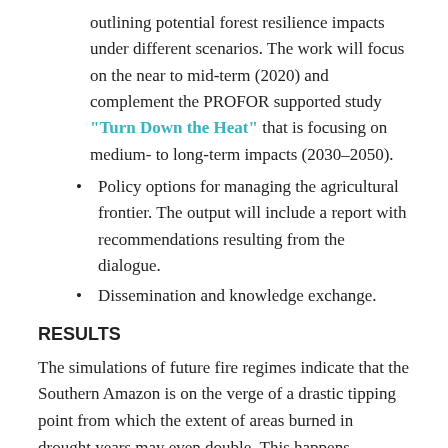outlining potential forest resilience impacts under different scenarios. The work will focus on the near to mid-term (2020) and complement the PROFOR supported study "Turn Down the Heat" that is focusing on medium- to long-term impacts (2030–2050).
Policy options for managing the agricultural frontier. The output will include a report with recommendations resulting from the dialogue.
Dissemination and knowledge exchange.
RESULTS
The simulations of future fire regimes indicate that the Southern Amazon is on the verge of a drastic tipping point from which the extent of areas burned in drought years may even double. This happens consistently in